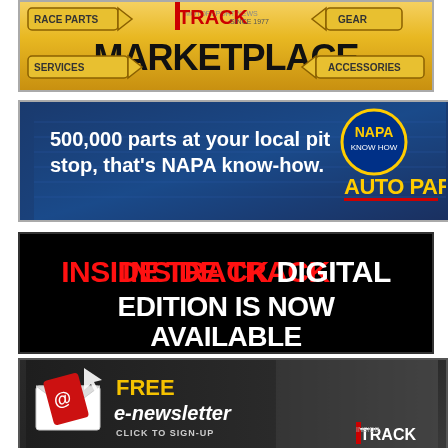[Figure (illustration): Inside Track Motorsport News Marketplace banner with directional arrow signs for Race Parts, Services, Gear, Accessories and large MARKETPLACE text on yellow/gold background]
[Figure (illustration): NAPA Auto Parts advertisement banner: '500,000 parts at your local pit stop, that's NAPA know-how.' with NAPA circular logo and AUTO PARTS text on dark blue background]
[Figure (illustration): Inside Track Digital Edition Is Now Available banner with red INSIDE TRACK and white DIGITAL EDITION IS NOW AVAILABLE text on black background]
[Figure (illustration): Free e-newsletter click to sign-up banner with envelope icon, yellow FREE text, white italic e-newsletter text on dark background with track photo and Inside Track logo]